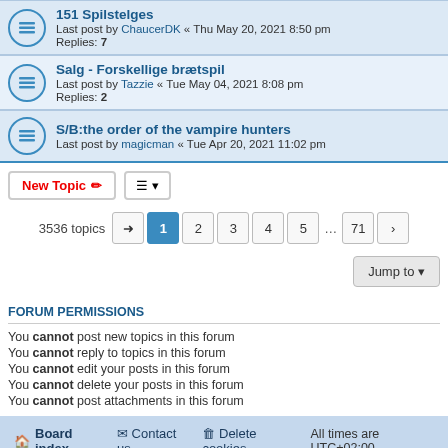151 Spilstelges - Last post by ChaucerDK « Thu May 20, 2021 8:50 pm - Replies: 7
Salg - Forskellige brætspil - Last post by Tazzie « Tue May 04, 2021 8:08 pm - Replies: 2
S/B:the order of the vampire hunters - Last post by magicman « Tue Apr 20, 2021 11:02 pm
New Topic | sort button | 3536 topics | page navigation: 1 2 3 4 5 ... 71
Jump to
FORUM PERMISSIONS
You cannot post new topics in this forum
You cannot reply to topics in this forum
You cannot edit your posts in this forum
You cannot delete your posts in this forum
You cannot post attachments in this forum
Board index | Contact us | Delete cookies | All times are UTC+02:00
Powered by phpBB® Forum Software © phpBB Limited
Privacy | Terms